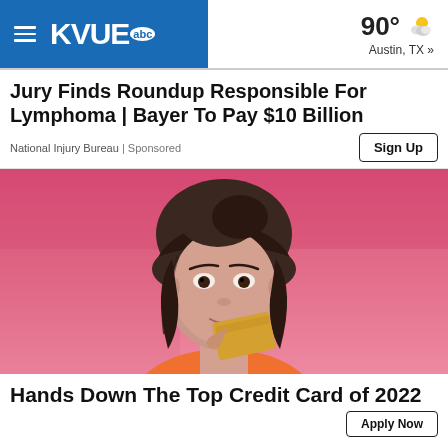KVUE abc — 90° Austin, TX »
Jury Finds Roundup Responsible For Lymphoma | Bayer To Pay $10 Billion
National Injury Bureau | Sponsored
[Figure (photo): Woman with dark hair and bangs in orange top holding a gold card against a pink background]
Hands Down The Top Credit Card of 2022